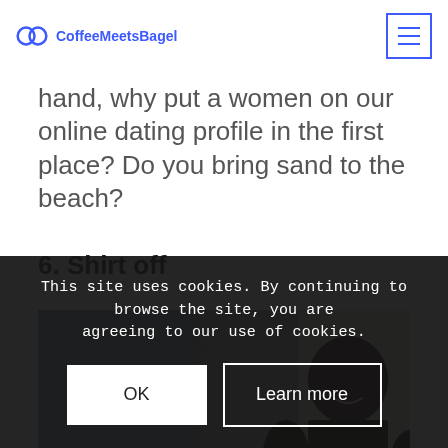CoffeeMeetsBagel
hand, why put a women on our online dating profile in the first place? Do you bring sand to the beach?
6. Shirt off
[Figure (photo): Man standing shirtless in a bathroom with shower curtain visible in background, smiling at camera]
This site uses cookies. By continuing to browse the site, you are agreeing to our use of cookies.